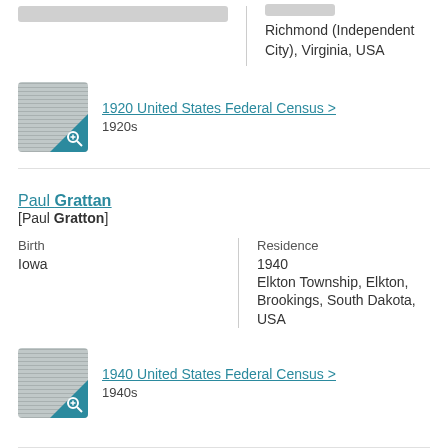Richmond (Independent City), Virginia, USA
[Figure (photo): Thumbnail of 1920 United States Federal Census record with teal zoom corner]
1920 United States Federal Census > 1920s
Paul Grattan [Paul Gratton]
Birth Iowa
Residence 1940 Elkton Township, Elkton, Brookings, South Dakota, USA
[Figure (photo): Thumbnail of 1940 United States Federal Census record with teal zoom corner]
1940 United States Federal Census > 1940s